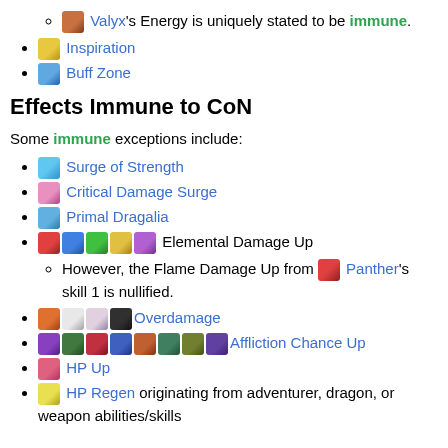Valyx's Energy is uniquely stated to be immune.
Inspiration
Buff Zone
Effects Immune to CoN
Some immune exceptions include:
Surge of Strength
Critical Damage Surge
Primal Dragalia
Elemental Damage Up
However, the Flame Damage Up from Panther's skill 1 is nullified.
Overdamage
Affliction Chance Up
HP Up
HP Regen originating from adventurer, dragon, or weapon abilities/skills